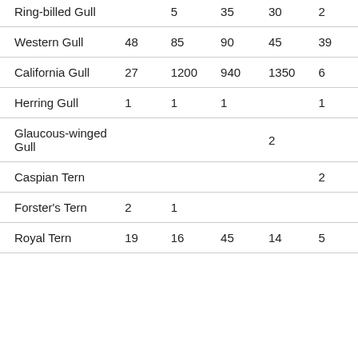| Ring-billed Gull |  | 5 | 35 | 30 | 2 |
| Western Gull | 48 | 85 | 90 | 45 | 39 |
| California Gull | 27 | 1200 | 940 | 1350 | 6 |
| Herring Gull | 1 | 1 | 1 |  | 1 |
| Glaucous-winged Gull |  |  |  | 2 |  |
| Caspian Tern |  |  |  |  | 2 |
| Forster's Tern | 2 | 1 |  |  |  |
| Royal Tern | 19 | 16 | 45 | 14 | 5 |